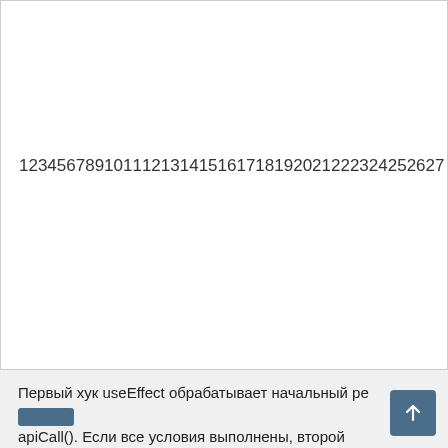[Figure (screenshot): A white box with a border containing a single line of numbers: 1234567891011121314151617181920212223242526272 8 (continuing off-screen to the right)]
Первый хук useEffect обрабатывает начальный ре... apiCall(). Если все условия выполнены, второй useEffect...